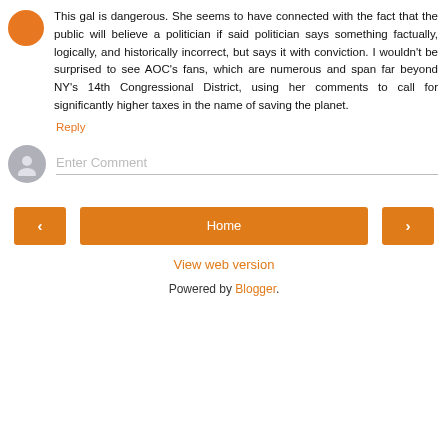This gal is dangerous. She seems to have connected with the fact that the public will believe a politician if said politician says something factually, logically, and historically incorrect, but says it with conviction. I wouldn't be surprised to see AOC's fans, which are numerous and span far beyond NY's 14th Congressional District, using her comments to call for significantly higher taxes in the name of saving the planet.
Reply
Enter Comment
Home
View web version
Powered by Blogger.